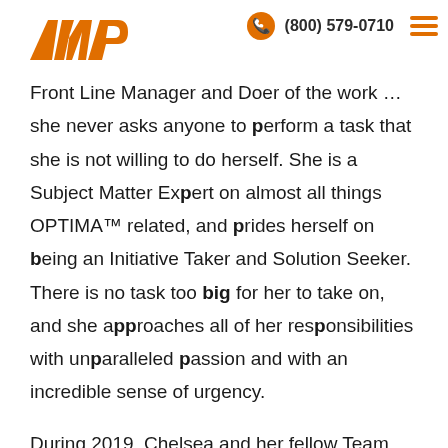AMP | (800) 579-0710
impactful leader at AMP, very much deserving of the 2019 Manager of the Year Award. Chelsea is a Front Line Manager and Doer of the work ...
Front Line Manager and Doer of the work … she never asks anyone to perform a task that she is not willing to do herself. She is a Subject Matter Expert on almost all things OPTIMA™ related, and prides herself on being an Initiative Taker and Solution Seeker. There is no task too big for her to take on, and she approaches all of her responsibilities with unparalleled passion and with an incredible sense of urgency.
During 2019, Chelsea and her fellow Team leaders embarked on a Training Mission to ensure everyone on the Team possessed the necessary